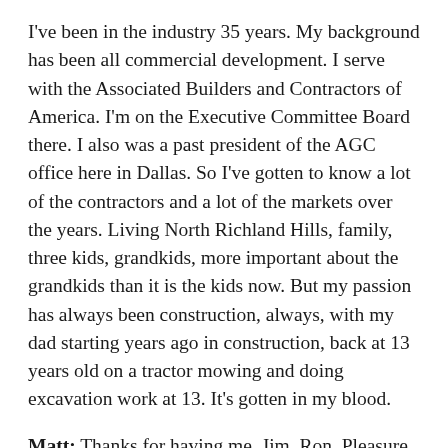I've been in the industry 35 years. My background has been all commercial development. I serve with the Associated Builders and Contractors of America. I'm on the Executive Committee Board there. I also was a past president of the AGC office here in Dallas. So I've gotten to know a lot of the contractors and a lot of the markets over the years. Living North Richland Hills, family, three kids, grandkids, more important about the grandkids than it is the kids now. But my passion has always been construction, always, with my dad starting years ago in construction, back at 13 years old on a tractor mowing and doing excavation work at 13. It's gotten in my blood.
Matt: Thanks for having me, Jim, Ron. Pleasure to be here. My name is Matt Miller. I grew up in Toledo, Ohio. I went to school in Cleveland at undergrad, and then came to Dallas in the mid-'90s and started out in the medical office building business. So my entire career has been in commercial real estate in some form or fashion. Moved from medical office into the investment side, and worked for a number of years, investing equity and just development deals across a variety of product types, so